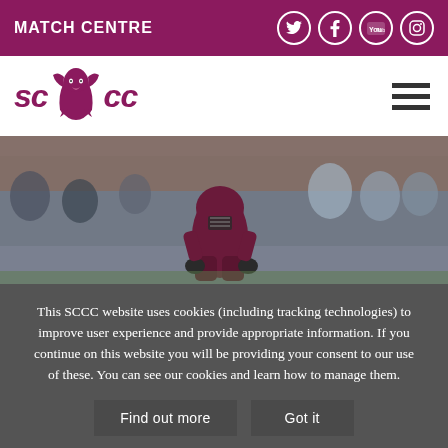MATCH CENTRE
[Figure (logo): SCCC Somerset County Cricket Club logo with purple dragon and stylized text SC CC]
[Figure (photo): Cricket player in maroon/purple kit and helmet fielding in crouching position, crowd and brick wall in background]
This SCCC website uses cookies (including tracking technologies) to improve user experience and provide appropriate information. If you continue on this website you will be providing your consent to our use of these. You can see our cookies and learn how to manage them.
Find out more
Got it